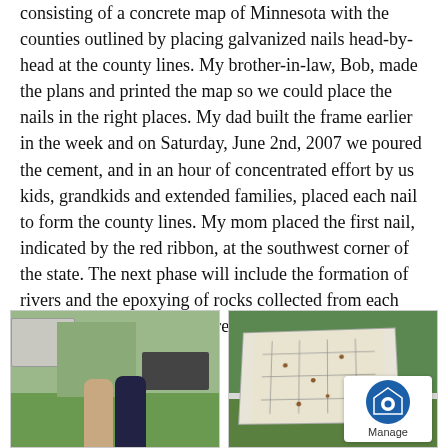consisting of a concrete map of Minnesota with the counties outlined by placing galvanized nails head-by-head at the county lines.  My brother-in-law, Bob, made the plans and printed the map so we could place the nails in the right places.  My dad built the frame earlier in the week and on Saturday, June 2nd, 2007 we poured the cement, and in an hour of concentrated effort by us kids, grandkids and extended families, placed each nail to form the county lines.  My mom placed the first nail, indicated by the red ribbon, at the southwest corner of the state. The next phase will include the formation of rivers and the epoxying of rocks collected from each county, to be place in their respective county locations on the map.
[Figure (photo): Two people standing on grass in front of a building and truck]
[Figure (photo): A concrete map of Minnesota with nails placed along county lines, photographed at an angle on grass, with a Manage logo overlay in the bottom right corner]